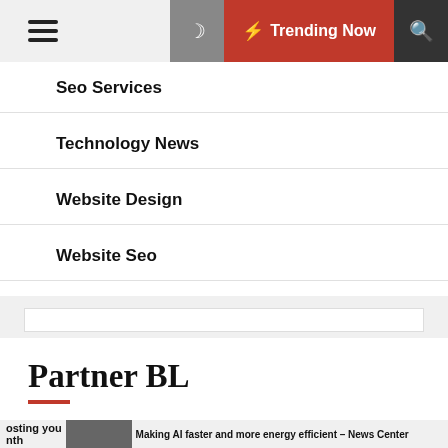Trending Now
Seo Services
Technology News
Website Design
Website Seo
Partner BL
osting you nth  Making AI faster and more energy efficient – News Center